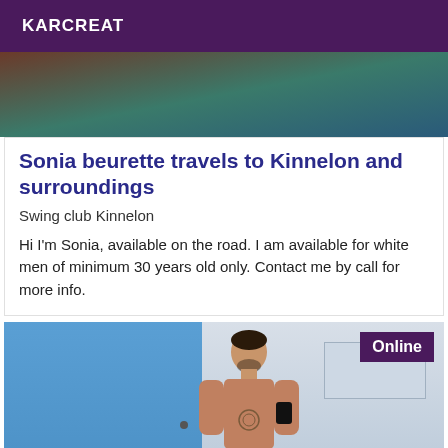KARCREAT
[Figure (photo): Top portion of a photo, showing a dark brownish-red and teal/dark green blurred background, appears to be an indoor setting.]
Sonia beurette travels to Kinnelon and surroundings
Swing club Kinnelon
Hi I'm Sonia, available on the road. I am available for white men of minimum 30 years old only. Contact me by call for more info.
[Figure (photo): A shirtless man taking a mirror selfie in a bathroom. He has short dark hair and a beard, visible tattoos on his chest, holding a black phone. The left side shows a blue wall/door, the right side shows a bathroom mirror and window. An 'Online' badge is in the top right corner.]